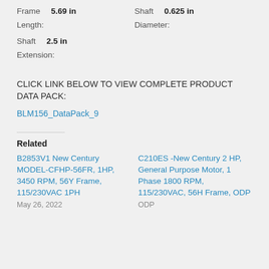Frame Length: 5.69 in | Shaft Diameter: 0.625 in | Shaft Extension: 2.5 in
CLICK LINK BELOW TO VIEW COMPLETE PRODUCT DATA PACK:
BLM156_DataPack_9
Related
B2853V1 New Century MODEL-CFHP-56FR, 1HP, 3450 RPM, 56Y Frame, 115/230VAC 1PH
May 26, 2022
C210ES -New Century 2 HP, General Purpose Motor, 1 Phase 1800 RPM, 115/230VAC, 56H Frame, ODP
ODP